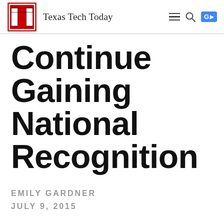Texas Tech Today
Continue Gaining National Recognition
EMILY GARDNER
JULY 9, 2015